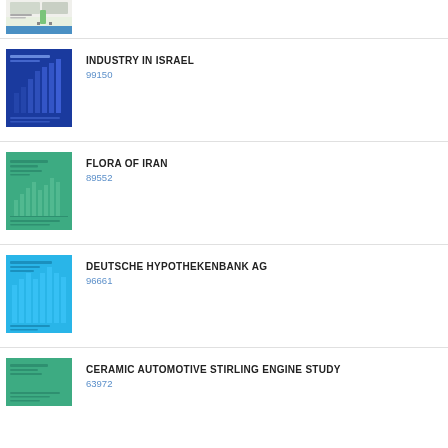[Figure (illustration): Partial book cover thumbnail at top, colorful, partially visible]
[Figure (illustration): Blue book cover for Industry in Israel]
INDUSTRY IN ISRAEL
99150
[Figure (illustration): Green book cover for Flora of Iran]
FLORA OF IRAN
89552
[Figure (illustration): Light blue book cover for Deutsche Hypothekenbank AG]
DEUTSCHE HYPOTHEKENBANK AG
96661
[Figure (illustration): Green book cover for Ceramic Automotive Stirling Engine Study]
CERAMIC AUTOMOTIVE STIRLING ENGINE STUDY
63972